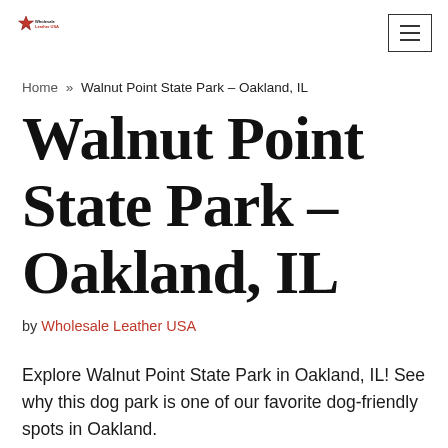Wholesale Leather USA [logo] [hamburger menu]
Home » Walnut Point State Park – Oakland, IL
Walnut Point State Park – Oakland, IL
by Wholesale Leather USA
Explore Walnut Point State Park in Oakland, IL! See why this dog park is one of our favorite dog-friendly spots in Oakland.